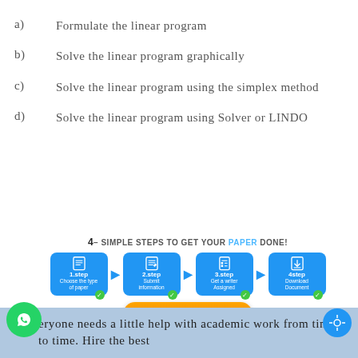a)   Formulate the linear program
b)   Solve the linear program graphically
c)   Solve the linear program using the simplex method
d)   Solve the linear program using Solver or LINDO
[Figure (infographic): 4 simple steps to get your paper done: 1.step Choose the type of paper, 2.step Submit information, 3.step Get a writer assigned, 4.step Download Document. ORDER NOW button with Click Here To Order Now and payment icons.]
everyone needs a little help with academic work from time to time. Hire the best